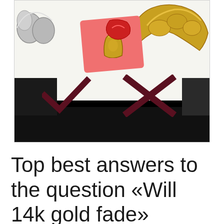[Figure (photo): Photo showing dental gold items including a gold dental bridge, silver teeth, a pink/red dental tray with a gold tooth crown on it. Below the items are a dark checkmark and an X mark drawn on white paper, all set against a mostly white background with black areas.]
Top best answers to the question «Will 14k gold fade»